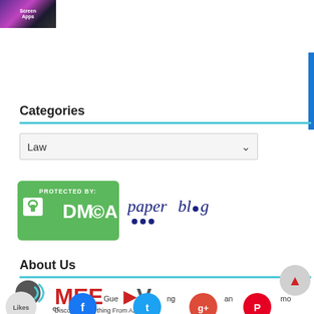[Figure (screenshot): App screenshot thumbnail with purple/magenta gradient background showing 'Screen Apps' text]
Categories
[Figure (other): Dropdown selector showing 'Law' option with chevron arrow]
[Figure (logo): DMCA Protected By badge - green badge with lock icon and DMCA copyright symbol]
[Figure (logo): Paperblog logo in dark blue italic text with dots]
About Us
[Figure (logo): MeerV logo - speech bubble icon with MEERV text and tagline 'Discover Everything From A2Z']
[Figure (other): Social media icon strip showing Facebook, Twitter, Google+, Pinterest, LinkedIn and other social icons at bottom of page]
Likes